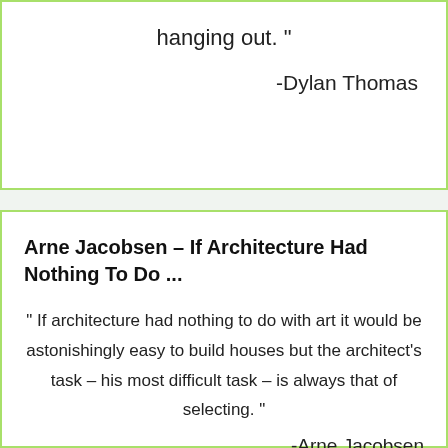hanging out. "
-Dylan Thomas
Arne Jacobsen – If Architecture Had Nothing To Do ...
" If architecture had nothing to do with art it would be astonishingly easy to build houses but the architect's task – his most difficult task – is always that of selecting. "
-Arne Jacobsen